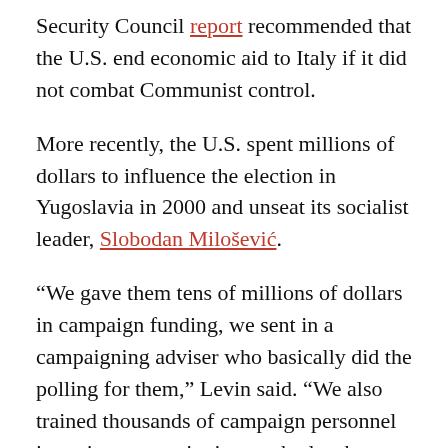Security Council report recommended that the U.S. end economic aid to Italy if it did not combat Communist control.
More recently, the U.S. spent millions of dollars to influence the election in Yugoslavia in 2000 and unseat its socialist leader, Slobodan Milošević.
“We gave them tens of millions of dollars in campaign funding, we sent in a campaigning adviser who basically did the polling for them,” Levin said. “We also trained thousands of campaign personnel in various campaigning methods – how to get out the vote, and so forth.”
The U.S. paid for 2.5 million stickers with the slogan